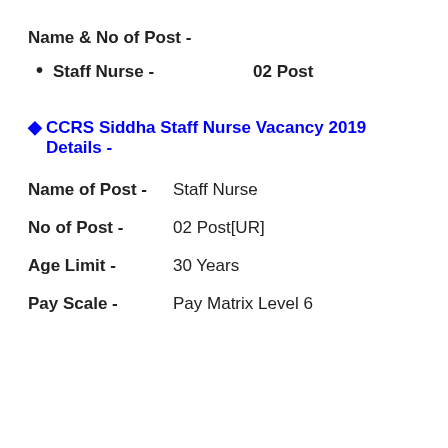Name & No of Post -
Staff Nurse  -                      02 Post
♦ CCRS Siddha Staff Nurse Vacancy 2019 Details -
Name of Post -        Staff Nurse
No of Post -            02 Post[UR]
Age Limit -             30 Years
Pay Scale -             Pay Matrix Level 6